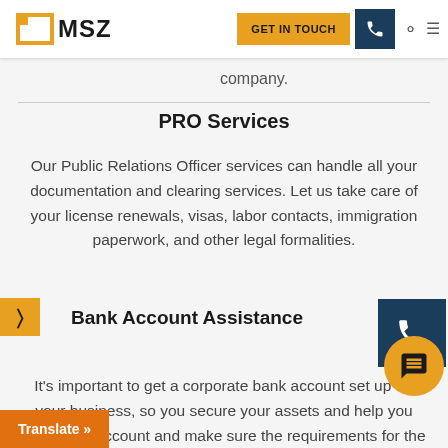MSZ — GET IN TOUCH
company.
PRO Services
Our Public Relations Officer services can handle all your documentation and clearing services. Let us take care of your license renewals, visas, labor contacts, immigration paperwork, and other legal formalities.
Bank Account Assistance
It's important to get a corporate bank account set up for your business, so you secure your assets and help you open your account and make sure the requirements for the bank that you